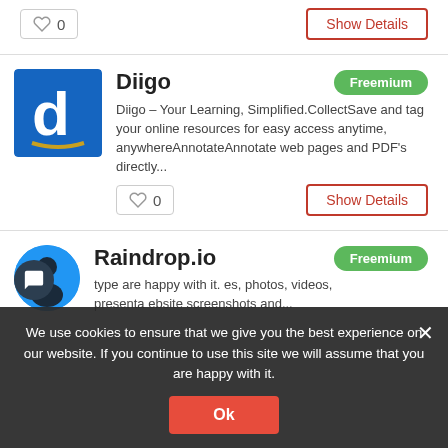[Figure (other): Heart icon with count 0 and Show Details button at top of page]
[Figure (logo): Diigo logo - blue square with white lowercase 'd' and gold underline]
Diigo
Freemium
Diigo – Your Learning, Simplified.CollectSave and tag your online resources for easy access anytime, anywhereAnnotateAnnotate web pages and PDF's directly...
[Figure (other): Heart icon with count 0 and Show Details button]
[Figure (logo): Raindrop.io logo - blue circle with dark figure icon]
Raindrop.io
Freemium
type are happy with it. es, photos, videos, presenta ebsite screenshots and...
We use cookies to ensure that we give you the best experience on our website. If you continue to use this site we will assume that you are happy with it.